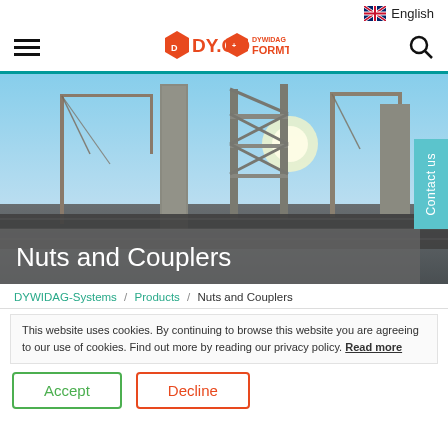English
[Figure (logo): DY.CO and DYWIDAG FORMTIES logos in orange]
[Figure (photo): Construction site with cranes and concrete structures against a bright sky]
Nuts and Couplers
DYWIDAG-Systems / Products / Nuts and Couplers
This website uses cookies. By continuing to browse this website you are agreeing to our use of cookies. Find out more by reading our privacy policy. Read more
Accept
Decline